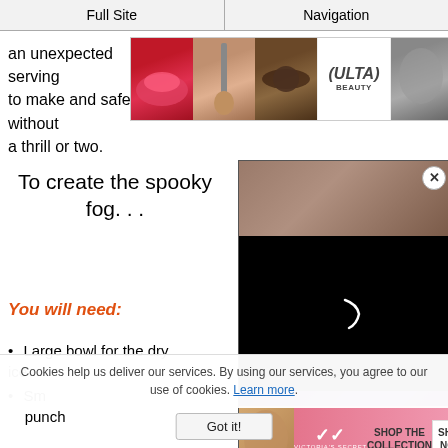Full Site | Navigation
an unex[pected] [servi]ve serving [...]  Easy to make and safe to do, it just would not be Halloween without a thrill or two.
[Figure (photo): Ulta Beauty advertisement banner with makeup photos (lips, brush, eye), Ulta logo, model, and SHOP NOW button]
To create the spooky fog. . .
You will need:
Large bowl for the dry ice [and]
Sm[all] [...] punch
[Figure (photo): Right side overlay with stone background image, black video loading area with spinner, and purple/dark bottom section with 'lasted show' label. Victoria's Secret advertisement with model, VS logo, SHOP THE COLLECTION text, and SHOP NOW button.]
Cookies help us deliver our services. By using our services, you agree to our use of cookies. Learn more.
Got it!